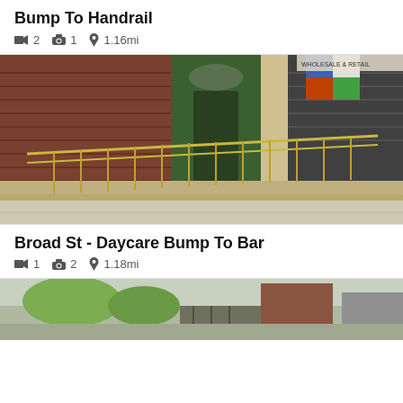Bump To Handrail
▪ 2  📷 1  📍 1.16mi
[Figure (photo): Street-level photo showing a ramp with metal handrails in front of closed shopfronts with rolling shutters. Signs visible include 'WHOLESALE & RETAIL' and 'BILL PAYMENT'.]
Broad St - Daycare Bump To Bar
▪ 1  📷 2  📍 1.18mi
[Figure (photo): Partial view of another street-level photo showing trees and building facades.]